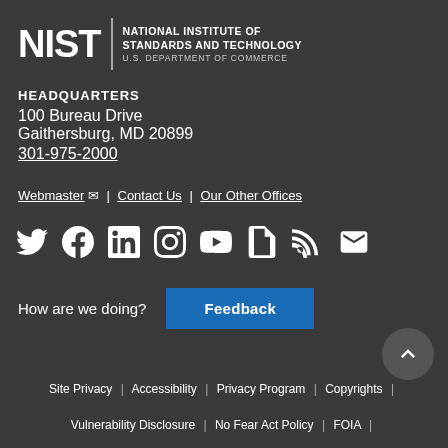[Figure (logo): NIST - National Institute of Standards and Technology, U.S. Department of Commerce logo]
HEADQUARTERS
100 Bureau Drive
Gaithersburg, MD 20899
301-975-2000
Webmaster | Contact Us | Our Other Offices
[Figure (infographic): Social media icons: Twitter, Facebook, LinkedIn, Instagram, YouTube, GovDelivery, RSS, Email]
How are we doing?  Feedback
Site Privacy | Accessibility | Privacy Program | Copyrights | Vulnerability Disclosure | No Fear Act Policy | FOIA |